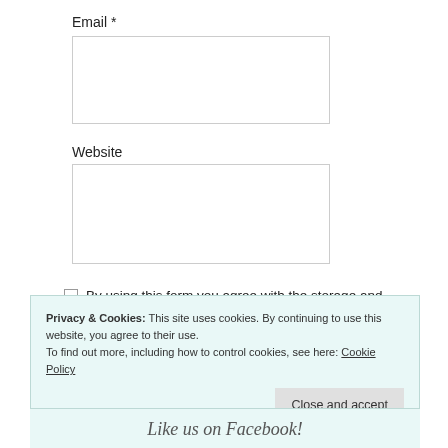Email *
Website
By using this form you agree with the storage and handling of your data by this website. *
Post Comment
Privacy & Cookies: This site uses cookies. By continuing to use this website, you agree to their use.
To find out more, including how to control cookies, see here: Cookie Policy
Close and accept
Like us on Facebook!